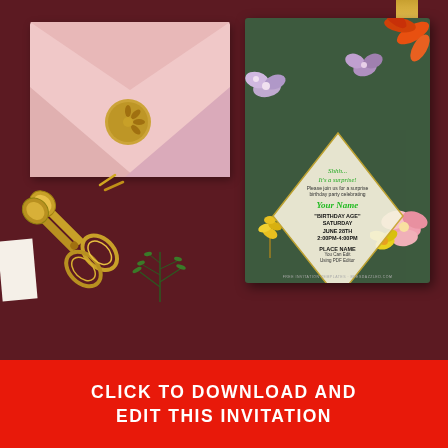[Figure (photo): Overhead photo of a dark maroon surface with a pink envelope, wax seal, gold scissors, green herbs, a decorative invitation card with floral design, and a gold tape at top right. The invitation card is dark green with floral decorations and a diamond-shaped text panel showing birthday party details.]
CLICK TO DOWNLOAD AND EDIT THIS INVITATION